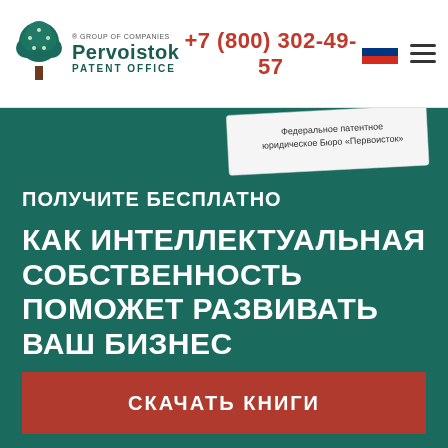[Figure (logo): Pervoistok Group of Companies Patent Office logo with tree icon]
+7 (800) 302-49-57
[Figure (illustration): Russian flag icon]
[Figure (illustration): Hamburger menu icon]
[Figure (illustration): Федеральное патентное юридическое Бюро «Первоисток» business card overlay]
ПОЛУЧИТЕ БЕСПЛАТНО
КАК ИНТЕЛЛЕКТУАЛЬНАЯ СОБСТВЕННОСТЬ ПОМОЖЕТ РАЗВИВАТЬ ВАШ БИЗНЕС
ПОЛЕЗНАЯ ВЫЖИМКА ИНФОРМАЦИИ
СКАЧАТЬ КНИГИ